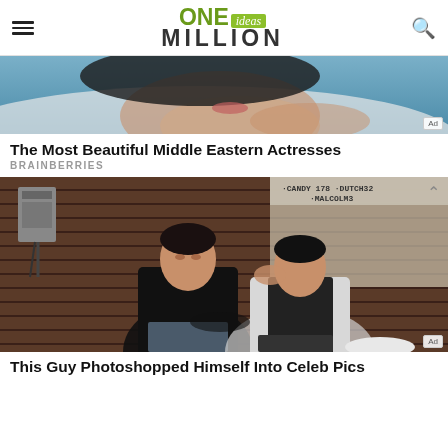ONE ideas MILLION
[Figure (photo): Close-up photo of a woman lying down, used as advertisement for 'The Most Beautiful Middle Eastern Actresses']
The Most Beautiful Middle Eastern Actresses
BRAINBERRIES
[Figure (photo): Two men sitting against a wooden wall with graffiti-style text reading 'CANDY 178 DUTCH32 MALCOLM3?', used as thumbnail for article about a guy photoshopping himself into celebrity photos]
This Guy Photoshopped Himself Into Celeb Pics...